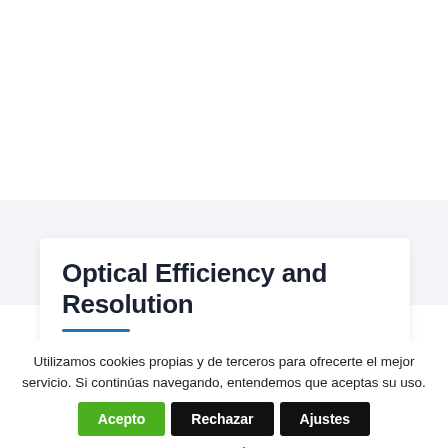Optical Efficiency and Resolution
Utilizamos cookies propias y de terceros para ofrecerte el mejor servicio. Si continúas navegando, entendemos que aceptas su uso.
Acepto  Rechazar  Ajustes
Leer más